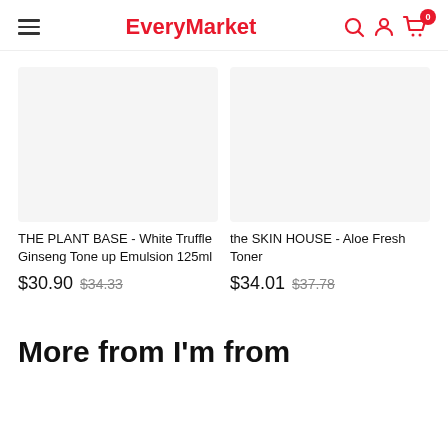EveryMarket
THE PLANT BASE - White Truffle Ginseng Tone up Emulsion 125ml
$30.90 $34.33
the SKIN HOUSE - Aloe Fresh Toner
$34.01 $37.78
More from I'm from